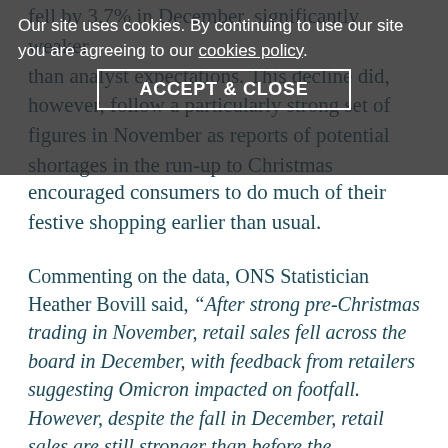fell by 3.7% in December, significantly weaker than analyst expectations. This decline did, however, follow a particularly strong set of figures in November as reports of potential shortages in the run-up to Christmas encouraged consumers to do much of their festive shopping earlier than usual.
Our site uses cookies. By continuing to use our site you are agreeing to our cookies policy.
ACCEPT & CLOSE
Commenting on the data, ONS Statistician Heather Bovill said, “After strong pre-Christmas trading in November, retail sales fell across the board in December, with feedback from retailers suggesting Omicron impacted on footfall. However, despite the fall in December, retail sales are still stronger than before the pandemic.”